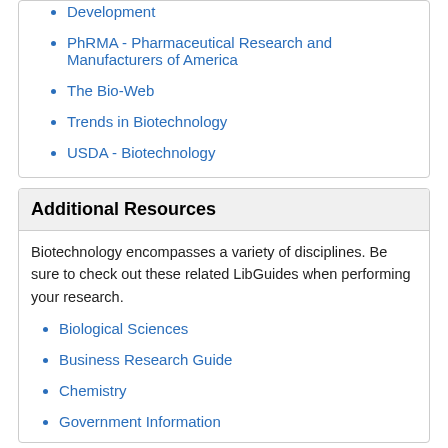Development
PhRMA - Pharmaceutical Research and Manufacturers of America
The Bio-Web
Trends in Biotechnology
USDA - Biotechnology
Additional Resources
Biotechnology encompasses a variety of disciplines.  Be sure to check out these related LibGuides when performing your research.
Biological Sciences
Business Research Guide
Chemistry
Government Information